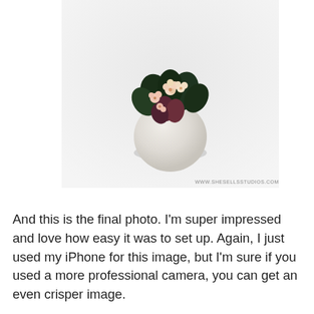[Figure (photo): A small round white ceramic pot containing dark green succulent leaves and small pale pink/cream flowers, photographed against a light grey-white background. Watermark 'WWW.SHESELLSSTUDIOS.COM' in the lower right of the image.]
And this is the final photo. I'm super impressed and love how easy it was to set up. Again, I just used my iPhone for this image, but I'm sure if you used a more professional camera, you can get an even crisper image.